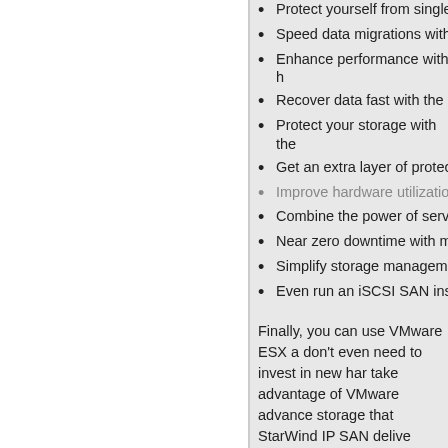Protect yourself from single
Speed data migrations witho
Enhance performance with h
Recover data fast with the v
Protect your storage with the
Get an extra layer of protect
Improve hardware utilization
Combine the power of serve
Near zero downtime with mo
Simplify storage manageme
Even run an iSCSI SAN insi
Finally, you can use VMware ESX a don't even need to invest in new har take advantage of VMware advance storage that StarWind IP SAN delive